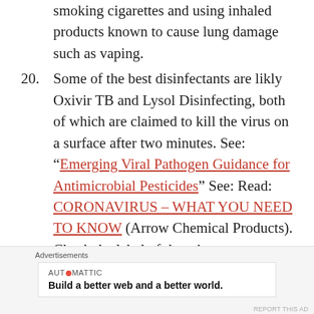smoking cigarettes and using inhaled products known to cause lung damage such as vaping.
20. Some of the best disinfectants are likly Oxivir TB and Lysol Disinfecting, both of which are claimed to kill the virus on a surface after two minutes. See: “Emerging Viral Pathogen Guidance for Antimicrobial Pesticides” See: Read: CORONAVIRUS – WHAT YOU NEED TO KNOW (Arrow Chemical Products). Check the label of the wipes you purchase to be sure its reads “Kills Coronavirus”.
21. In-home testing kits are needed.
Advertisements
AUT○MATTIC
Build a better web and a better world.